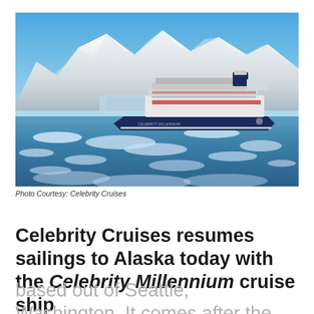[Figure (photo): Celebrity Millennium cruise ship sailing in icy Alaskan waters with snow-capped mountains in the background.]
Photo Courtesy: Celebrity Cruises
Celebrity Cruises resumes sailings to Alaska today with the Celebrity Millennium cruise ship based out of Seattle, Washington. It comes after the…